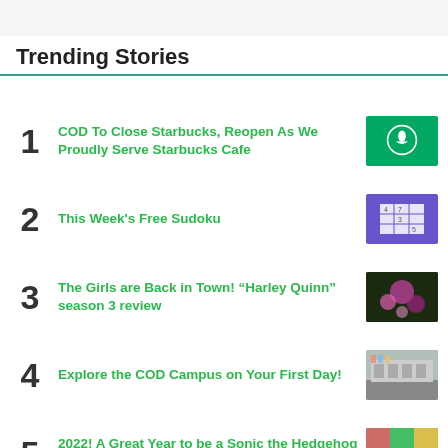Trending Stories
1 COD To Close Starbucks, Reopen As We Proudly Serve Starbucks Cafe
2 This Week's Free Sudoku
3 The Girls are Back in Town! “Harley Quinn” season 3 review
4 Explore the COD Campus on Your First Day!
5 2022! A Great Year to be a Sonic the Hedgehog Fan!